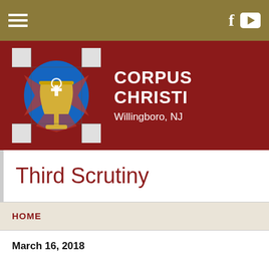Navigation bar with hamburger menu, Facebook and YouTube icons
[Figure (logo): Corpus Christi Church logo: stained glass chalice with cross on blue and red background]
CORPUS CHRISTI Willingboro, NJ
Third Scrutiny
HOME
March 16, 2018